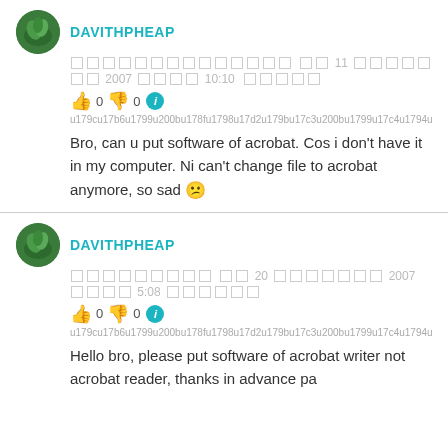[Figure (photo): User avatar circle with green plant/leaves background for DAVITHPHEAP (top comment)]
DAVITHPHEAP
□□□□□□□□□□□□□□ □□ 11 □□□□□□□ 2007 □□□□ 10:10 □□□□□
👍 0 👎 0 ℹ
u179cu17b6u1799u200bu178fu1798u17d2u179bu17c3u200bu1799u17c4u1794u1
Bro, can u put software of acrobat. Cos i don't have it in my computer. Ni can't change file to acrobat anymore, so sad 😕
[Figure (photo): User avatar circle with green plant/leaves background for DAVITHPHEAP (bottom comment)]
DAVITHPHEAP
□□□□□□□□□ □□ 20 □□□□□□□ 2007 □□□□ 5:08 □□□□□□
👍 0 👎 0 ℹ
u179cu17b6u1799u200bu178fu1798u17d2u179bu17c3u200bu1799u17c4u1794u1
Hello bro, please put software of acrobat writer not acrobat reader, thanks in advance pa